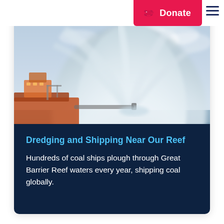[Figure (photo): Dredging ship spraying a large arc of water/sediment near the Great Barrier Reef]
Dredging and Shipping Near Our Reef
Hundreds of coal ships plough through Great Barrier Reef waters every year, shipping coal globally.